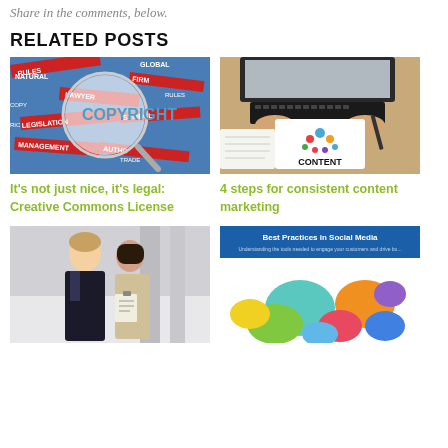Share in the comments, below.
RELATED POSTS
[Figure (photo): Magnifying glass over copyright/trademark word collage]
It's not just nice, it's legal: Creative Commons License
[Figure (photo): Person using laptop with a CONTENT sign illustration on desk]
4 steps for consistent content marketing
[Figure (photo): Two business professionals in conversation]
[Figure (infographic): Best Practices in Social Media - colorful speech bubble infographic]